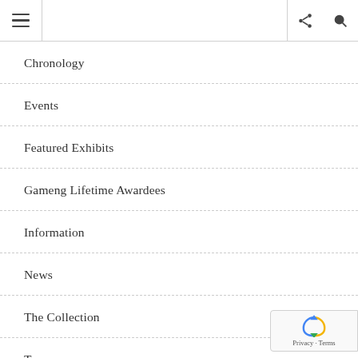Navigation menu header with hamburger, share, and search icons
Chronology
Events
Featured Exhibits
Gameng Lifetime Awardees
Information
News
The Collection
Tours